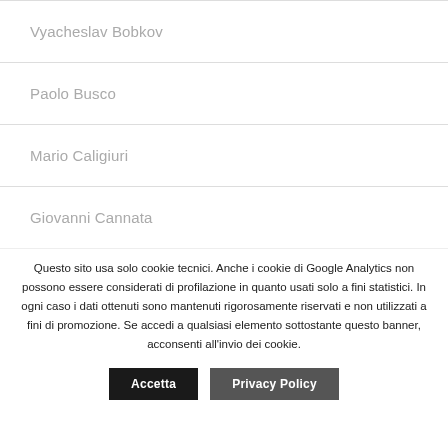Vyacheslav Bobkov
Paolo Busco
Mario Caligiuri
Giovanni Cannata
Questo sito usa solo cookie tecnici. Anche i cookie di Google Analytics non possono essere considerati di profilazione in quanto usati solo a fini statistici. In ogni caso i dati ottenuti sono mantenuti rigorosamente riservati e non utilizzati a fini di promozione. Se accedi a qualsiasi elemento sottostante questo banner, acconsenti all'invio dei cookie.
Accetta
Privacy Policy